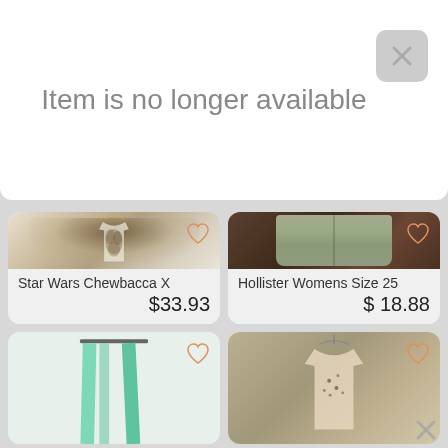Item is no longer available
[Figure (photo): Star Wars Chewbacca graphic t-shirt on hanger]
Star Wars Chewbacca X
$33.93
[Figure (photo): Hollister womens sage green slim pants]
Hollister Womens Size 25
$ 18.88
[Figure (photo): Mint green pants partially visible]
[Figure (photo): Patterned jacket or top on hanger]